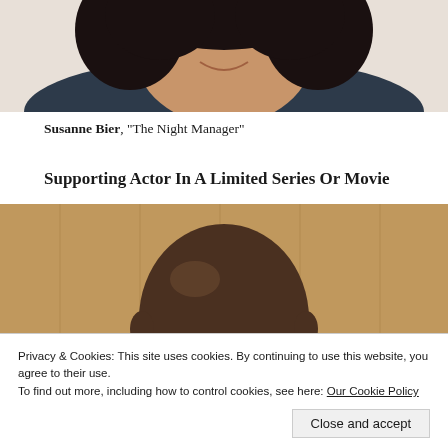[Figure (photo): Cropped photo of a smiling woman with dark curly hair, wearing a dark top, holding something, photographed against a light background]
Susanne Bier, "The Night Manager"
Supporting Actor In A Limited Series Or Movie
[Figure (photo): Photo of a bald Black man wearing round wire-rimmed glasses, photographed in front of a wood-paneled background]
Privacy & Cookies: This site uses cookies. By continuing to use this website, you agree to their use.
To find out more, including how to control cookies, see here: Our Cookie Policy
Close and accept